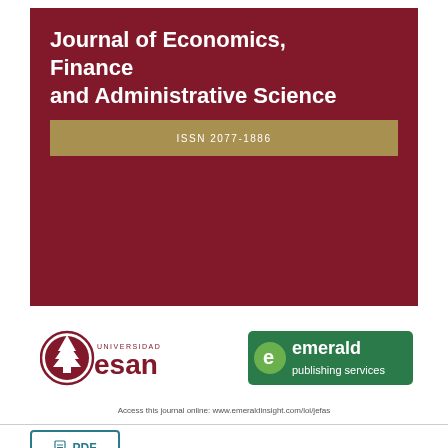Journal of Economics, Finance and Administrative Science
ISSN 2077-1886
[Figure (logo): Universidad ESAN logo with circular red emblem and stylized tree, text UNIVERSIDAD ESAN]
[Figure (logo): Emerald Publishing Services logo with green e icon and text emerald publishing services]
Access this journal online: www.emeraldinsight.com/loi/jefas
PDF